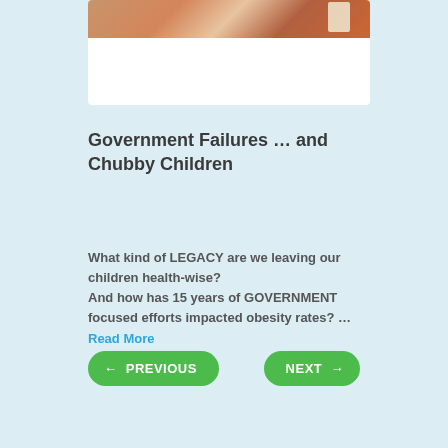[Figure (photo): Partial view of a photo showing a child's hand pointing, with a Coca-Cola cup visible in the background. White card/panel below the photo area.]
Government Failures … and Chubby Children
What kind of LEGACY are we leaving our children health-wise?
And how has 15 years of GOVERNMENT focused efforts impacted obesity rates? …
Read More
← PREVIOUS
NEXT →